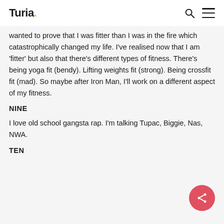Turia.
wanted to prove that I was fitter than I was in the fire which catastrophically changed my life. I've realised now that I am 'fitter' but also that there's different types of fitness. There's being yoga fit (bendy). Lifting weights fit (strong). Being crossfit fit (mad). So maybe after Iron Man, I'll work on a different aspect of my fitness.
NINE
I love old school gangsta rap. I'm talking Tupac, Biggie, Nas, NWA.
TEN